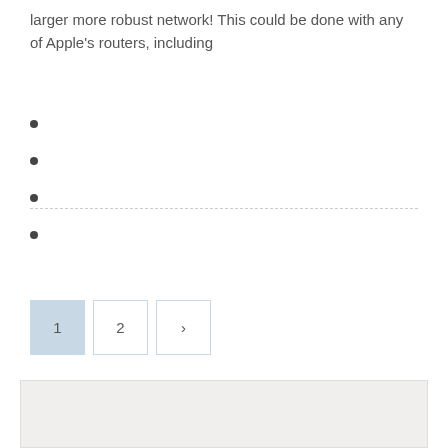larger more robust network! This could be done with any of Apple's routers, including
[Figure (screenshot): Pagination widget with buttons: 1 (active, light blue background), 2, and next arrow (>)]
[Figure (photo): A light gray/white textured background image at the bottom of the page]